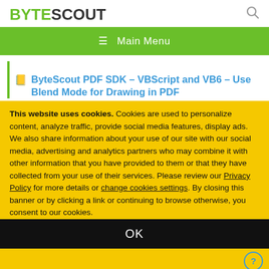BYTESCOUT
ByteScout PDF SDK – VBScript and VB6 – Use Blend Mode for Drawing in PDF
This website uses cookies. Cookies are used to personalize content, analyze traffic, provide social media features, display ads. We also share information about your use of our site with our social media, advertising and analytics partners who may combine it with other information that you have provided to them or that they have collected from your use of their services. Please review our Privacy Policy for more details or change cookies settings. By closing this banner or by clicking a link or continuing to browse otherwise, you consent to our cookies.
OK